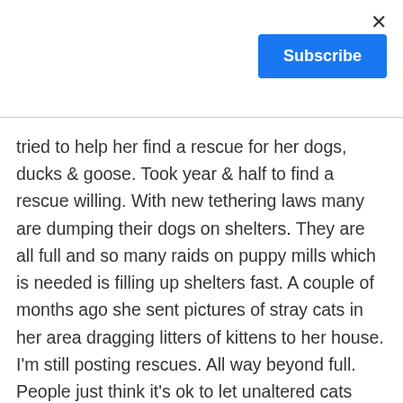[Figure (other): Close button (×) in top right corner]
[Figure (other): Blue Subscribe button in top right area]
tried to help her find a rescue for her dogs, ducks & goose. Took year & half to find a rescue willing. With new tethering laws many are dumping their dogs on shelters. They are all full and so many raids on puppy mills which is needed is filling up shelters fast. A couple of months ago she sent pictures of stray cats in her area dragging litters of kittens to her house. I'm still posting rescues. All way beyond full. People just think it's ok to let unaltered cats roam all night. I catch some here in traps & do a TNR where they give shots to feral cats, spay or neuter then not to disrupt any colonies they bring them back